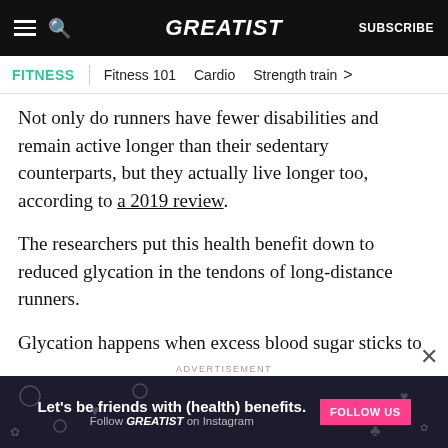GREATIST | SUBSCRIBE
FITNESS | Fitness 101  Cardio  Strength train >
Not only do runners have fewer disabilities and remain active longer than their sedentary counterparts, but they actually live longer too, according to a 2019 review.
The researchers put this health benefit down to reduced glycation in the tendons of long-distance runners.
Glycation happens when excess blood sugar sticks to the molecules of collagen and elastin in the
[Figure (screenshot): Advertisement banner: 'Let's be friends with (health) benefits. Follow GREATIST on Instagram' with pink FOLLOW US button on dark background with decorative icons.]